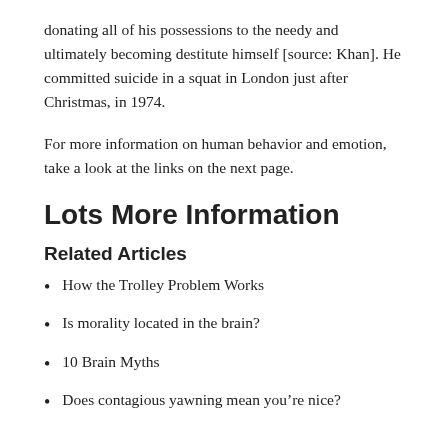donating all of his possessions to the needy and ultimately becoming destitute himself [source: Khan]. He committed suicide in a squat in London just after Christmas, in 1974.
For more information on human behavior and emotion, take a look at the links on the next page.
Lots More Information
Related Articles
How the Trolley Problem Works
Is morality located in the brain?
10 Brain Myths
Does contagious yawning mean you’re nice?